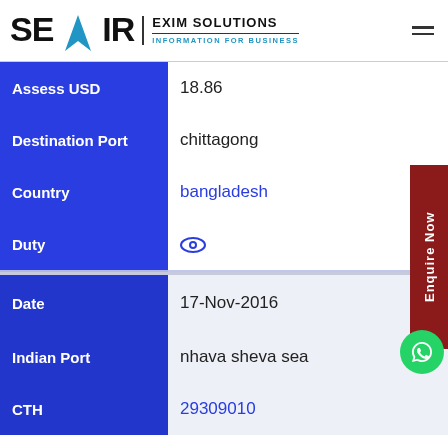SEAIR EXIM SOLUTIONS — INFORMATION FOR BUSINESS
| Field | Value |
| --- | --- |
| Assess USD | 18.86 |
| Destination Port | chittagong |
| Country | bangladesh |
| Duty |  |
| Date | 17-Nov-2016 |
| Indian Port | nhava sheva sea |
| CTH | 29309010 |